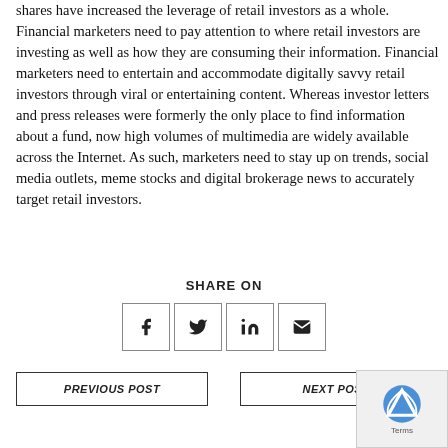shares have increased the leverage of retail investors as a whole. Financial marketers need to pay attention to where retail investors are investing as well as how they are consuming their information. Financial marketers need to entertain and accommodate digitally savvy retail investors through viral or entertaining content. Whereas investor letters and press releases were formerly the only place to find information about a fund, now high volumes of multimedia are widely available across the Internet. As such, marketers need to stay up on trends, social media outlets, meme stocks and digital brokerage news to accurately target retail investors.
SHARE ON
[Figure (infographic): Four social share icon buttons: Facebook (f), Twitter (bird), LinkedIn (in), Email (envelope)]
PREVIOUS POST
NEXT POST